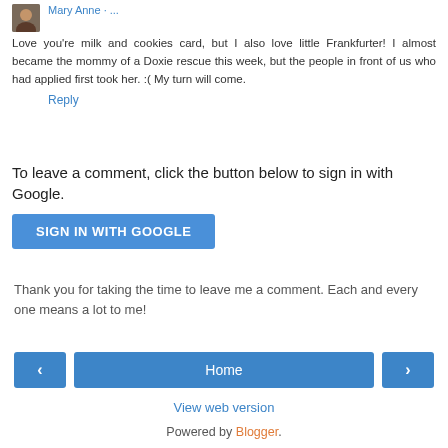Love you're milk and cookies card, but I also love little Frankfurter! I almost became the mommy of a Doxie rescue this week, but the people in front of us who had applied first took her. :( My turn will come.
Reply
To leave a comment, click the button below to sign in with Google.
SIGN IN WITH GOOGLE
Thank you for taking the time to leave me a comment. Each and every one means a lot to me!
‹
Home
›
View web version
Powered by Blogger.